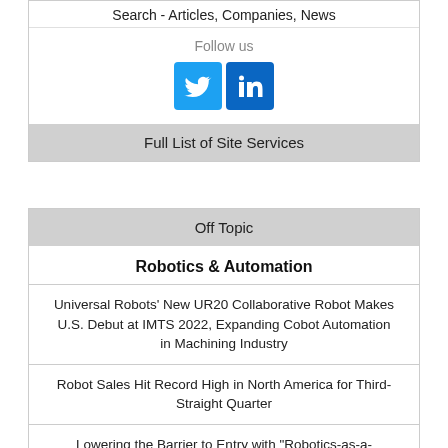Search - Articles, Companies, News
Follow us
[Figure (other): Twitter and LinkedIn social media icons]
Full List of Site Services
Off Topic
Robotics & Automation
Universal Robots' New UR20 Collaborative Robot Makes U.S. Debut at IMTS 2022, Expanding Cobot Automation in Machining Industry
Robot Sales Hit Record High in North America for Third-Straight Quarter
Lowering the Barrier to Entry with "Robotics-as-a-